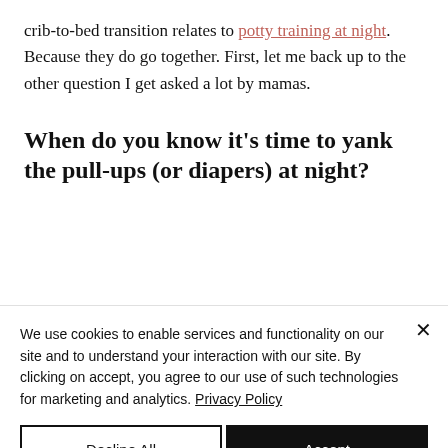crib-to-bed transition relates to potty training at night. Because they do go together. First, let me back up to the other question I get asked a lot by mamas.
When do you know it's time to yank the pull-ups (or diapers) at night?
We use cookies to enable services and functionality on our site and to understand your interaction with our site. By clicking on accept, you agree to our use of such technologies for marketing and analytics. Privacy Policy
Decline All | Accept
Cookie Policy